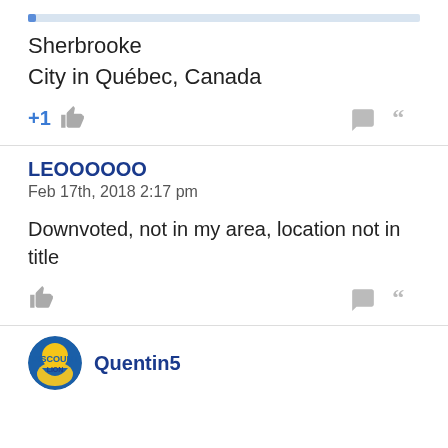[Figure (infographic): Blue progress/highlight bar at top of post]
Sherbrooke
City in Québec, Canada
[Figure (infographic): Reaction row: +1 thumbs up icon on left, reply and quote icons on right]
LEOOOOOO
Feb 17th, 2018 2:17 pm
Downvoted, not in my area, location not in title
[Figure (infographic): Reaction row: thumbs up icon on left, reply and quote icons on right]
[Figure (infographic): Avatar circle for Quentin5 at bottom]
Quentin5